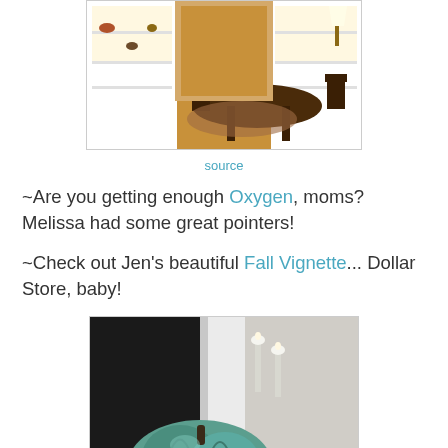[Figure (photo): Interior dining room photo showing white built-in cabinets with lit display shelves, wooden dining table and chairs, patterned rug on hardwood floor, warm lighting]
source
~Are you getting enough Oxygen, moms? Melissa had some great pointers!
~Check out Jen's beautiful Fall Vignette... Dollar Store, baby!
[Figure (photo): Fall vignette photo showing a teal/blue painted pumpkin in foreground, black furniture, white column pillar, and white candle holders in background]